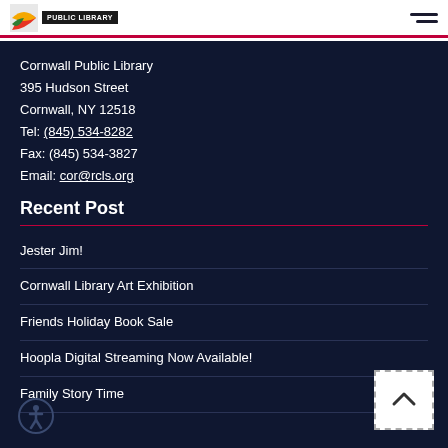Cornwall Public Library logo and navigation header
Cornwall Public Library
395 Hudson Street
Cornwall, NY 12518
Tel: (845) 534-8282
Fax: (845) 534-3827
Email: cor@rcls.org
Recent Post
Jester Jim!
Cornwall Library Art Exhibition
Friends Holiday Book Sale
Hoopla Digital Streaming Now Available!
Family Story Time